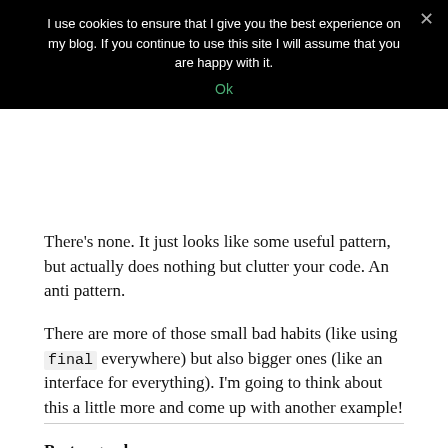I use cookies to ensure that I give you the best experience on my blog. If you continue to use this site I will assume that you are happy with it.
Ok
There's none. It just looks like some useful pattern, but actually does nothing but clutter your code. An anti pattern.
There are more of those small bad habits (like using final everywhere) but also bigger ones (like an interface for everything). I'm going to think about this a little more and come up with another example!
Best regards,
Thomas